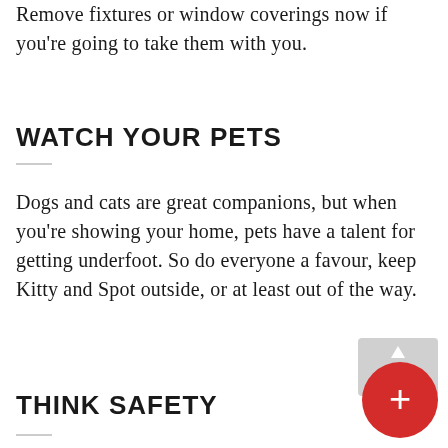Remove fixtures or window coverings now if you're going to take them with you.
WATCH YOUR PETS
Dogs and cats are great companions, but when you're showing your home, pets have a talent for getting underfoot. So do everyone a favour, keep Kitty and Spot outside, or at least out of the way.
THINK SAFETY
[Figure (other): Red circular floating action button with a white plus sign, with a grey rectangular tab above it containing an upward arrow.]